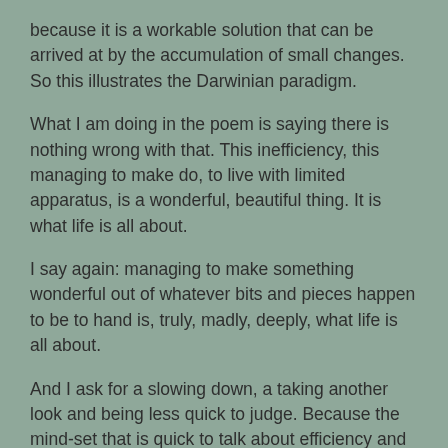because it is a workable solution that can be arrived at by the accumulation of small changes. So this illustrates the Darwinian paradigm.
What I am doing in the poem is saying there is nothing wrong with that. This inefficiency, this managing to make do, to live with limited apparatus, is a wonderful, beautiful thing. It is what life is all about.
I say again: managing to make something wonderful out of whatever bits and pieces happen to be to hand is, truly, madly, deeply, what life is all about.
And I ask for a slowing down, a taking another look and being less quick to judge. Because the mind-set that is quick to talk about efficiency and improvement is, too often, the mind-set that oppresses ordinary workers for the benefit of a few powerful business owners, or that overwhelms nurses and NHS staff with endless rule